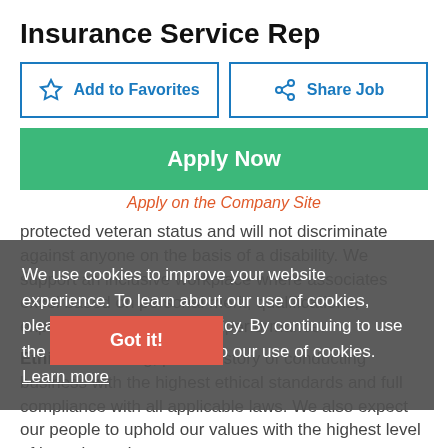Insurance Service Rep
[Figure (screenshot): Add to Favorites and Share Job buttons]
[Figure (screenshot): Apply Now green button]
Apply on the Company Site
protected veteran status and will not discriminate against anyone on the basis of a disability. We support an inclusive workplace where associates excel based on personal merit, qualifications, experience, ability, and job performance.
Ethical Ac... long, proud history of conducting business with the highest ethical standards and full compliance with all applicable laws. We also expect our people to uphold our values with the highest level of integrity and
We use cookies to improve your website experience. To learn about our use of cookies, please see our Cookie Policy. By continuing to use the website, you consent to our use of cookies. Learn more
[Figure (screenshot): Got it! button (red/orange)]